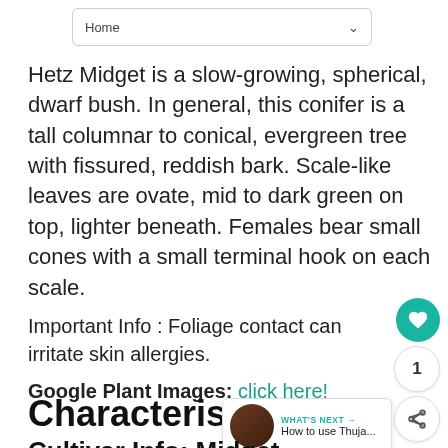Home
Hetz Midget is a slow-growing, spherical, dwarf bush. In general, this conifer is a tall columnar to conical, evergreen tree with fissured, reddish bark. Scale-like leaves are ovate, mid to dark green on top, lighter beneath. Females bear small cones with a small terminal hook on each scale.
Important Info : Foliage contact can irritate skin allergies.
Google Plant Images: click here!
Characteristics
Cultivar Info: Midget...